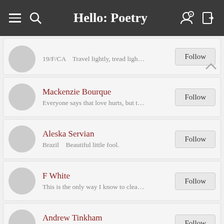Hello: Poetry
19/F/CA   Travel lightly, tread ligh…  Follow
Mackenzie Bourque  Everyone says that love hurts, but t…  Follow
Aleska Servian  Brazil   Beautiful little fool.  Follow
F White  This is the only way I know to clea…  Follow
Andrew Tinkham  USA  Follow
Marci Mareburger  I was held down by a force so pow…  Follow